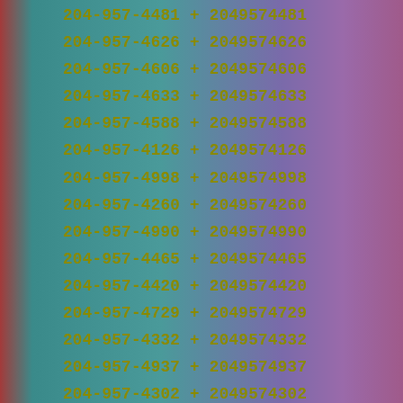204-957-4481 + 2049574481
204-957-4626 + 2049574626
204-957-4606 + 2049574606
204-957-4633 + 2049574633
204-957-4588 + 2049574588
204-957-4126 + 2049574126
204-957-4998 + 2049574998
204-957-4260 + 2049574260
204-957-4990 + 2049574990
204-957-4465 + 2049574465
204-957-4420 + 2049574420
204-957-4729 + 2049574729
204-957-4332 + 2049574332
204-957-4937 + 2049574937
204-957-4302 + 2049574302
204-957-4581 + 2049574581
204-957-4907 + 2049574907
204-957-4591 + 2049574591
204-957-4785 + 2049574785
204-957-4490 + 2049574490
204-957-4400 + 2049574400
204-957-4753 + 2049574753
204-957-4067 + 2049574067